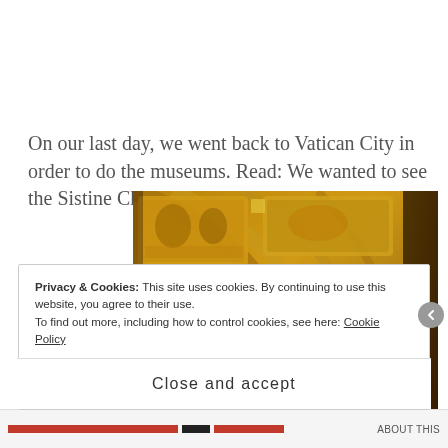On our last day, we went back to Vatican City in order to do the museums. Read: We wanted to see the Sistine Chapel.
[Figure (photo): Interior photo of ornate painted ceiling, likely Vatican Museums gallery, showing gilded arched ceiling panels with religious paintings and decorative motifs in gold, green, and orange tones.]
Privacy & Cookies: This site uses cookies. By continuing to use this website, you agree to their use. To find out more, including how to control cookies, see here: Cookie Policy
Close and accept